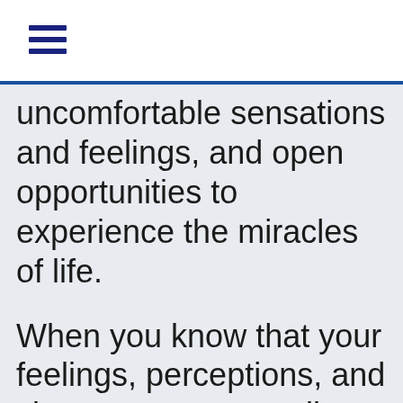☰
uncomfortable sensations and feelings, and open opportunities to experience the miracles of life.

When you know that your feelings, perceptions, and circumstances are all created by your beliefs, and when you have a